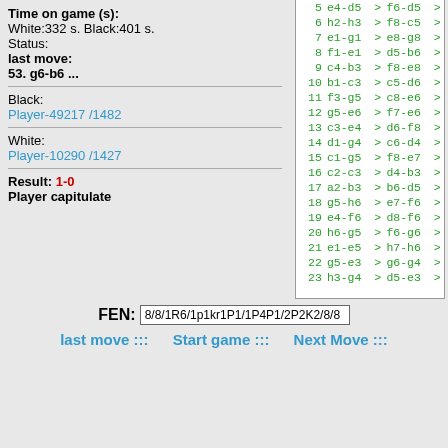Time on game (s): White:332 s. Black:401 s. Status: last move: 53. g6-b6 ...
Black: Player-49217 /1482
White: Player-10290 /1427
Result: 1-0 Player capitulate
[Figure (other): Chess move list from move 5 to 23, showing white and black moves in green text on white background with move numbers]
FEN: 8/8/1R6/1p1kr1P1/1P4P1/2P2K2/8/8
last move ::: Start game ::: Next Move :::